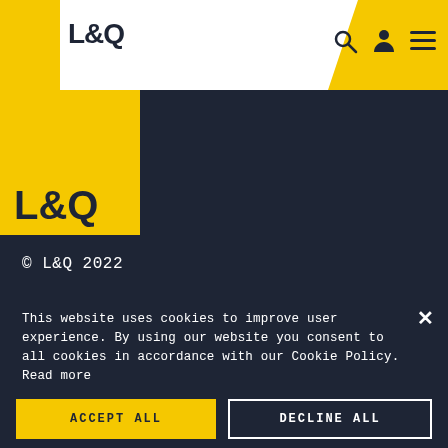[Figure (logo): L&Q logo in top navigation bar on white background with yellow accents and navigation icons]
[Figure (logo): L&Q logo in large yellow square block on dark background]
© L&Q 2022
This website uses cookies to improve user experience. By using our website you consent to all cookies in accordance with our Cookie Policy. Read more
STRICTLY NECESSARY
ANALYTICS
SHOW DETAILS
ACCEPT ALL
DECLINE ALL